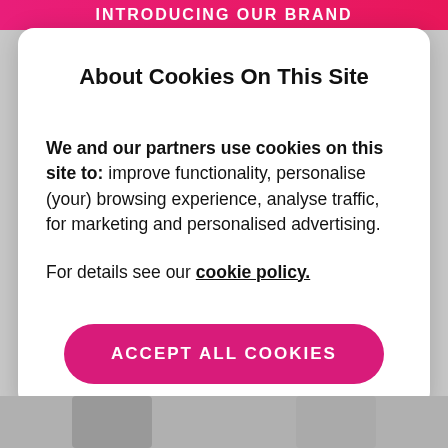INTRODUCING OUR BRAND
About Cookies On This Site
We and our partners use cookies on this site to: improve functionality, personalise (your) browsing experience, analyse traffic, for marketing and personalised advertising.

For details see our cookie policy.
[Figure (other): Pink rounded button labeled ACCEPT ALL COOKIES]
[Figure (photo): Partial photos of two people at the bottom of the page]